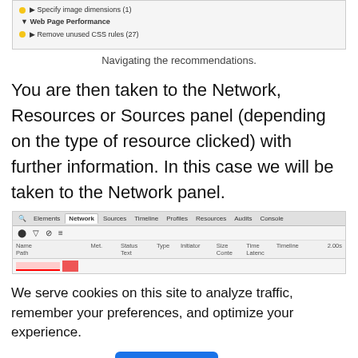[Figure (screenshot): Partial screenshot of a browser developer tools panel showing recommendations including 'Specify image dimensions (1)' and 'Remove unused CSS rules (27)' under Web Page Performance section]
Navigating the recommendations.
You are then taken to the Network, Resources or Sources panel (depending on the type of resource clicked) with further information. In this case we will be taken to the Network panel.
[Figure (screenshot): Screenshot of Chrome Developer Tools Network panel showing tabs: Elements, Network (active), Sources, Timeline, Profiles, Resources, Audits, Console, with toolbar icons and table columns: Name/Path, Met., Status Text, Type, Initiator, Size/Conte, Time/Latenc, Timeline, 2.00s]
We serve cookies on this site to analyze traffic, remember your preferences, and optimize your experience.
More details  Ok, Got it.